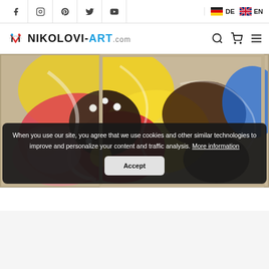NIKOLOVI-ART.com — social bar with Facebook, Instagram, Pinterest, Twitter, YouTube icons; language switcher DE / EN
[Figure (photo): Close-up photograph of a colorful abstract fluid art painting on canvas, displayed at an angle. The painting features swirling patterns of red, pink, yellow, black, white, and blue paint, with what appear to be decorative black shapes and small white spherical beads arranged on the surface.]
When you use our site, you agree that we use cookies and other similar technologies to improve and personalize your content and traffic analysis. More information
Accept